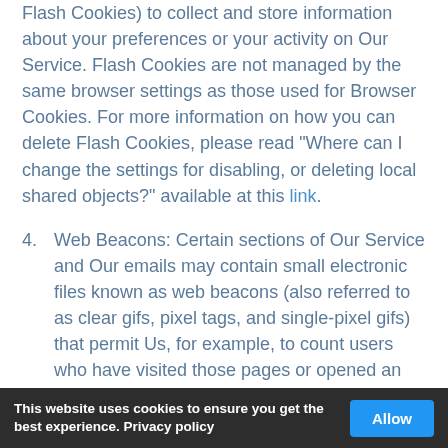Flash Cookies) to collect and store information about your preferences or your activity on Our Service. Flash Cookies are not managed by the same browser settings as those used for Browser Cookies. For more information on how you can delete Flash Cookies, please read "Where can I change the settings for disabling, or deleting local shared objects?" available at this link.
4. Web Beacons: Certain sections of Our Service and Our emails may contain small electronic files known as web beacons (also referred to as clear gifs, pixel tags, and single-pixel gifs) that permit Us, for example, to count users who have visited those pages or opened an email and for
This website uses cookies to ensure you get the best experience. Privacy policy